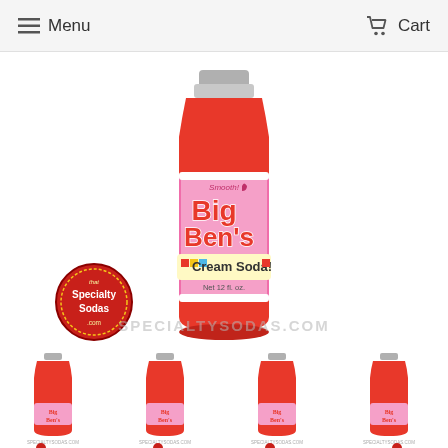Menu  Cart
[Figure (photo): Large red glass bottle of Big Ben's Cream Soda with pink label reading 'Smooth! Big Ben's Cream Soda! Net 12 fl. oz.' with Specialty Sodas logo badge in lower left]
[Figure (photo): Four thumbnail images of Big Ben's Cream Soda red bottles with Specialty Sodas badges, each with SPECIALTYSODAS.COM watermark]